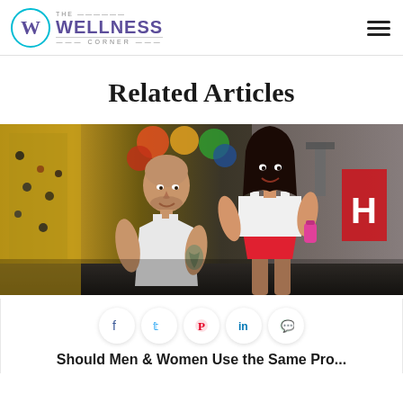THE WELLNESS CORNER
Related Articles
[Figure (photo): A man and woman in gym workout clothes posing together and smiling in a gym setting. The woman holds a pink water bottle and wears red shorts and a white top. The man is bald with tattoos and wears a white tank top.]
Should Men & Women Use the Same Pro...